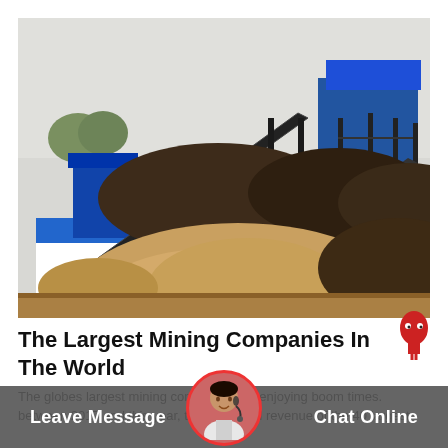[Figure (photo): Industrial mining facility with conveyor belts, large piles of sand and ore, blue-roofed buildings, and heavy equipment under an overcast sky.]
The Largest Mining Companies In The World
The globes largest mining companies are enjoying boom times. between 2017 and this year, the combined revenue of the 40 largest
Leave Message   Chat Online